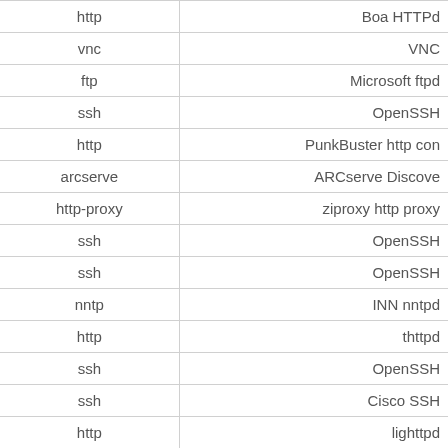| Protocol | Service |
| --- | --- |
| http | Boa HTTPd |
| vnc | VNC |
| ftp | Microsoft ftpd |
| ssh | OpenSSH |
| http | PunkBuster http con |
| arcserve | ARCserve Discove |
| http-proxy | ziproxy http proxy |
| ssh | OpenSSH |
| ssh | OpenSSH |
| nntp | INN nntpd |
| http | thttpd |
| ssh | OpenSSH |
| ssh | Cisco SSH |
| http | lighttpd |
| http | Boa HTTPd |
| http | lighttpd |
| ftp |  |
| http | lighttpd |